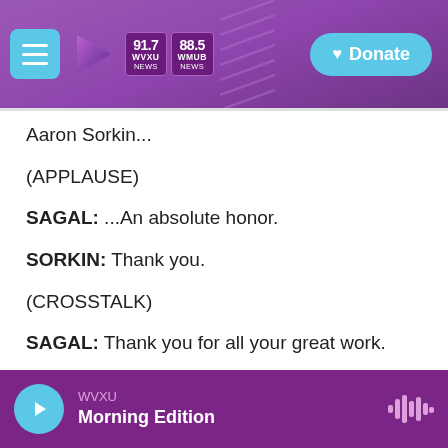WVXU 91.7 NEWS | WMUB 88.5 NEWS | Donate
Aaron Sorkin...
(APPLAUSE)
SAGAL: ...An absolute honor.
SORKIN: Thank you.
(CROSSTALK)
SAGAL: Thank you for all your great work.
POUNDSTONE: Bye, Aaron Sorkin.
WVXU Morning Edition